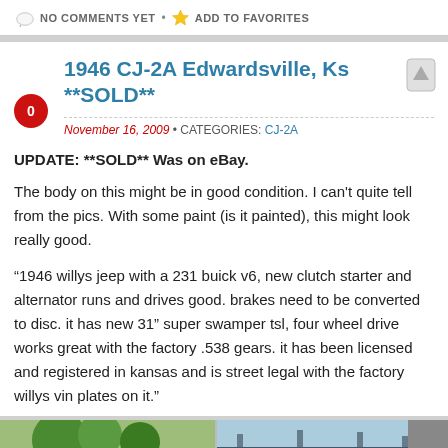NO COMMENTS YET • ADD TO FAVORITES
1946 CJ-2A Edwardsville, Ks **SOLD**
November 16, 2009 • CATEGORIES: CJ-2A
UPDATE:  **SOLD** Was on eBay.
The body on this might be in good condition.  I can't quite tell from the pics.  With some paint (is it painted), this might look really good.
“1946 willys jeep with a 231 buick v6, new clutch starter and alternator runs and drives good. brakes need to be converted to disc. it has new 31” super swamper tsl, four wheel drive works great with the factory .538 gears. it has been licensed and registered in kansas and is street legal with the factory willys vin plates on it.”
[Figure (photo): Two photos of a 1946 CJ-2A Jeep]